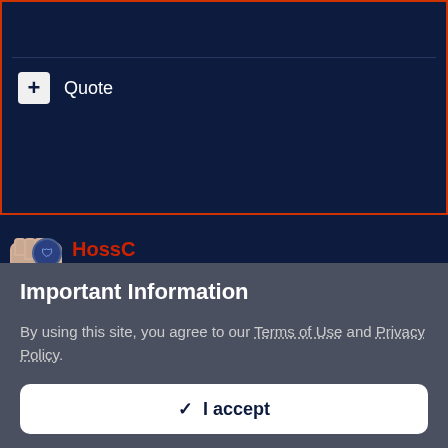[Figure (screenshot): Quote button area with a plus icon box and 'Quote' label on dark navy background with orange border]
HossC
Posted January 31, 2011
Thanks for the review DaisyMae. It's unlikely I'll ever to get to one of these concerts, so it's great to have a first-hand account.
Important Information
By using this site, you agree to our Terms of Use and Privacy Policy.
I accept